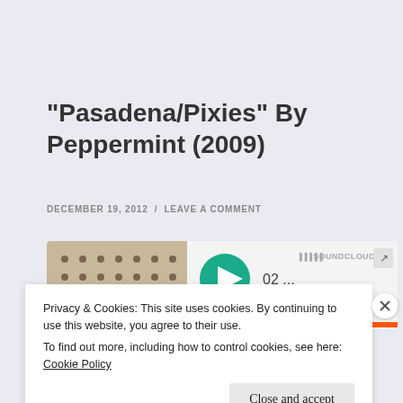“Pasadena/Pixies” By Peppermint (2009)
DECEMBER 19, 2012  /  LEAVE A COMMENT
[Figure (screenshot): SoundCloud embedded music player showing a track with album art (spotted pattern), teal play button, track label '02 ...', SoundCloud logo, and an orange progress bar.]
Privacy & Cookies: This site uses cookies. By continuing to use this website, you agree to their use.
To find out more, including how to control cookies, see here: Cookie Policy
Close and accept